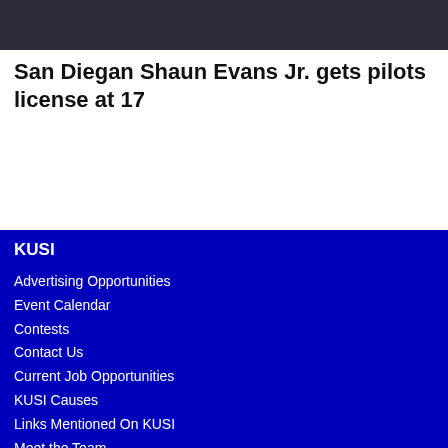[Figure (photo): Dark photograph showing people, appears to be cropped at top of page]
San Diegan Shaun Evans Jr. gets pilots license at 17
KUSI
Advertising Opportunities
Event Calendar
Contests
Contact Us
Current Job Opportunities
KUSI Causes
Links Mentioned On KUSI
Meet the Team